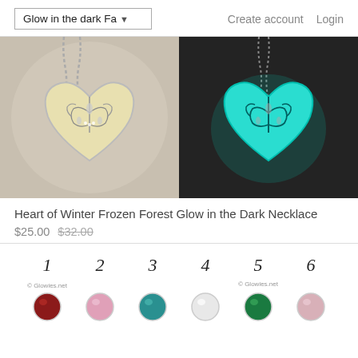Glow in the dark Fa▾   Create account   Login
[Figure (photo): Two photos of a heart-shaped filigree necklace pendant: left photo shows the pendant in daylight with silver/gold finish on a crystal background; right photo shows the same pendant glowing teal/cyan in the dark on a dark stone background]
Heart of Winter Frozen Forest Glow in the Dark Necklace
$25.00  $32.00
[Figure (photo): Six numbered gemstone/crystal charm swatches: 1=dark red/garnet, 2=light pink/rose, 3=teal/blue-green, 4=clear/white, 5=green/emerald, 6=light pink/blush. Numbers labeled 1 through 6 above each swatch. Glowies.net watermark visible.]